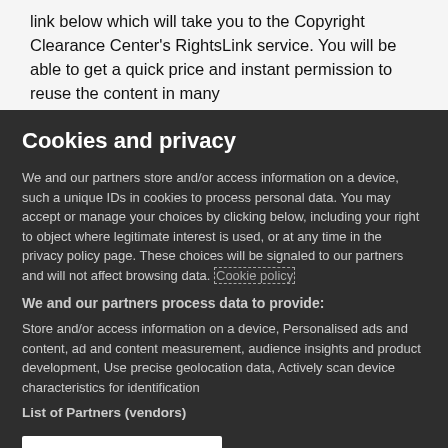link below which will take you to the Copyright Clearance Center's RightsLink service. You will be able to get a quick price and instant permission to reuse the content in many
Cookies and privacy
We and our partners store and/or access information on a device, such a unique IDs in cookies to process personal data. You may accept or manage your choices by clicking below, including your right to object where legitimate interest is used, or at any time in the privacy policy page. These choices will be signaled to our partners and will not affect browsing data. Cookie policy
We and our partners process data to provide:
Store and/or access information on a device, Personalised ads and content, ad and content measurement, audience insights and product development, Use precise geolocation data, Actively scan device characteristics for identification
List of Partners (vendors)